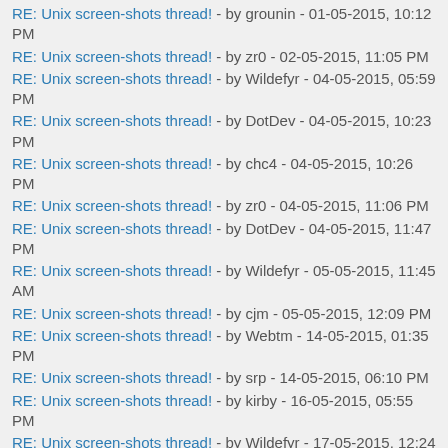RE: Unix screen-shots thread! - by grounin - 01-05-2015, 10:12 PM
RE: Unix screen-shots thread! - by zr0 - 02-05-2015, 11:05 PM
RE: Unix screen-shots thread! - by Wildefyr - 04-05-2015, 05:59 PM
RE: Unix screen-shots thread! - by DotDev - 04-05-2015, 10:23 PM
RE: Unix screen-shots thread! - by chc4 - 04-05-2015, 10:26 PM
RE: Unix screen-shots thread! - by zr0 - 04-05-2015, 11:06 PM
RE: Unix screen-shots thread! - by DotDev - 04-05-2015, 11:47 PM
RE: Unix screen-shots thread! - by Wildefyr - 05-05-2015, 11:45 AM
RE: Unix screen-shots thread! - by cjm - 05-05-2015, 12:09 PM
RE: Unix screen-shots thread! - by Webtm - 14-05-2015, 01:35 PM
RE: Unix screen-shots thread! - by srp - 14-05-2015, 06:10 PM
RE: Unix screen-shots thread! - by kirby - 16-05-2015, 05:55 PM
RE: Unix screen-shots thread! - by Wildefyr - 17-05-2015, 12:24